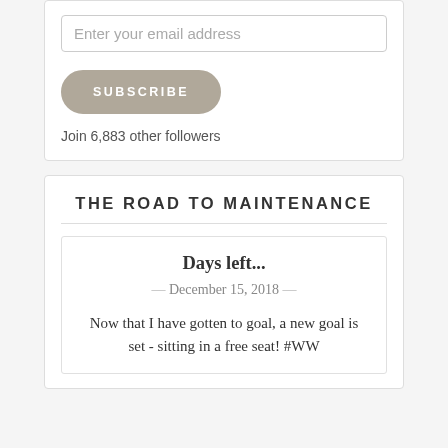Enter your email address
[Figure (other): Subscribe button with rounded pill shape in taupe/tan color]
Join 6,883 other followers
THE ROAD TO MAINTENANCE
Days left...
— December 15, 2018 —
Now that I have gotten to goal, a new goal is set - sitting in a free seat! #WW